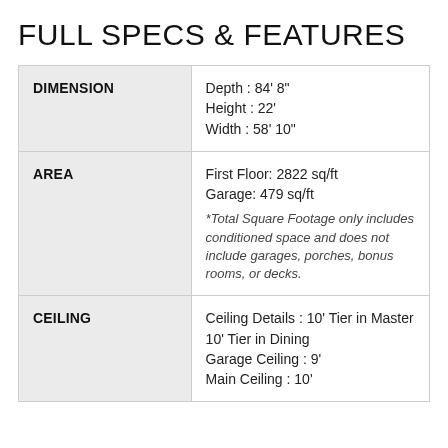FULL SPECS & FEATURES
| Category | Details |
| --- | --- |
| DIMENSION | Depth : 84' 8"
Height : 22'
Width : 58' 10" |
| AREA | First Floor: 2822 sq/ft
Garage: 479 sq/ft
*Total Square Footage only includes conditioned space and does not include garages, porches, bonus rooms, or decks. |
| CEILING | Ceiling Details : 10' Tier in Master 10' Tier in Dining
Garage Ceiling : 9'
Main Ceiling : 10' |